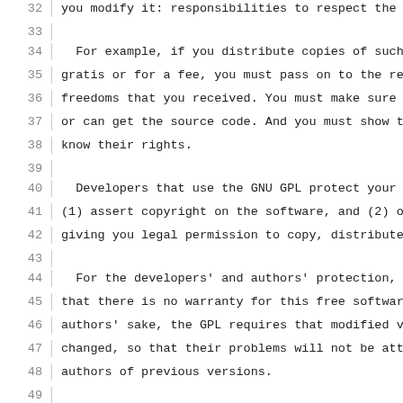32  you modify it: responsibilities to respect the f
33
34    For example, if you distribute copies of such
35  gratis or for a fee, you must pass on to the rec
36  freedoms that you received.  You must make sure
37  or can get the source code.  And you must show t
38  know their rights.
39
40    Developers that use the GNU GPL protect your
41  (1) assert copyright on the software, and (2) of
42  giving you legal permission to copy, distribute
43
44    For the developers' and authors' protection, t
45  that there is no warranty for this free software
46  authors' sake, the GPL requires that modified ve
47  changed, so that their problems will not be att
48  authors of previous versions.
49
50    Some devices are designed to deny users access
51  modified versions of the software inside them, a
52  can do so.  This is fundamentally incompatible w